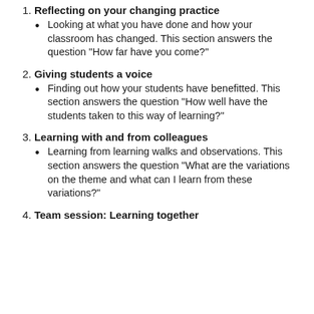1. Reflecting on your changing practice
Looking at what you have done and how your classroom has changed. This section answers the question “How far have you come?”
2. Giving students a voice
Finding out how your students have benefitted. This section answers the question “How well have the students taken to this way of learning?”
3. Learning with and from colleagues
Learning from learning walks and observations. This section answers the question “What are the variations on the theme and what can I learn from these variations?”
4. Team session: Learning together